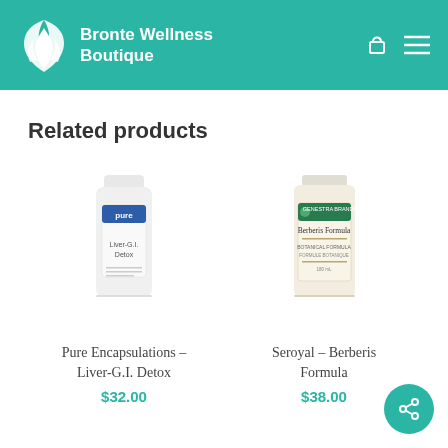Bronte Wellness Boutique
Related products
[Figure (photo): Bottle of Pure Encapsulations Liver-G.I. Detox supplement]
Pure Encapsulations – Liver-G.I. Detox
$32.00
[Figure (photo): Bottle of Seroyal Berberis Formula supplement]
Seroyal – Berberis Formula
$38.00